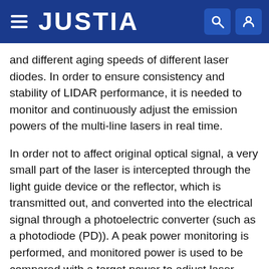JUSTIA
and different aging speeds of different laser diodes. In order to ensure consistency and stability of LIDAR performance, it is needed to monitor and continuously adjust the emission powers of the multi-line lasers in real time.
In order not to affect original optical signal, a very small part of the laser is intercepted through the light guide device or the reflector, which is transmitted out, and converted into the electrical signal through a photoelectric converter (such as a photodiode (PD)). A peak power monitoring is performed, and monitored power is used to be compared with a target power to adjust laser emission in real time. For multi-line laser emission, light path structure of the light guide device is optimized, so that powers from different lines of laser diodes in a spatial distribution collected by the same PD